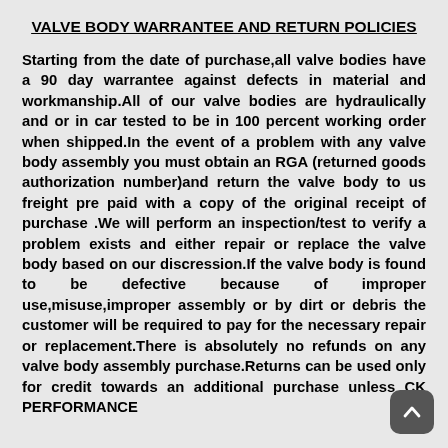VALVE BODY WARRANTEE AND RETURN POLICIES
Starting from the date of purchase,all valve bodies have a 90 day warrantee against defects in material and workmanship.All of our valve bodies are hydraulically and or in car tested to be in 100 percent working order when shipped.In the event of a problem with any valve body assembly you must obtain an RGA (returned goods authorization number)and return the valve body to us freight pre paid with a copy of the original receipt of purchase .We will perform an inspection/test to verify a problem exists and either repair or replace the valve body based on our discression.If the valve body is found to be defective because of improper use,misuse,improper assembly or by dirt or debris the customer will be required to pay for the necessary repair or replacement.There is absolutely no refunds on any valve body assembly purchase.Returns can be used only for credit towards an additional purchase unless CK PERFORMANCE